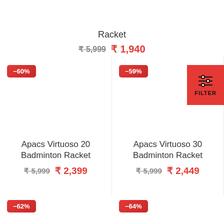Racket
₹ 5,999  ₹ 1,940
-60%
-59%
FILTER
Apacs Virtuoso 20 Badminton Racket
₹ 5,999  ₹ 2,399
Apacs Virtuoso 30 Badminton Racket
₹ 5,999  ₹ 2,449
-62%
-64%